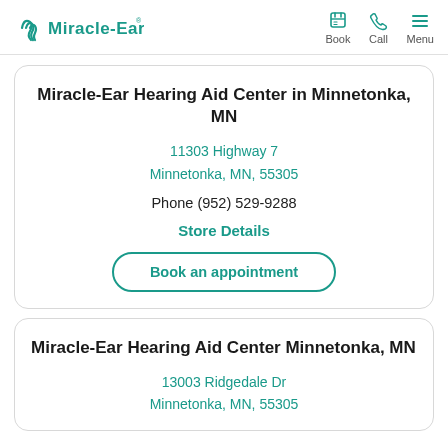Miracle-Ear | Book | Call | Menu
Miracle-Ear Hearing Aid Center in Minnetonka, MN
11303 Highway 7
Minnetonka, MN, 55305
Phone (952) 529-9288
Store Details
Book an appointment
Miracle-Ear Hearing Aid Center Minnetonka, MN
13003 Ridgedale Dr
Minnetonka, MN, 55305